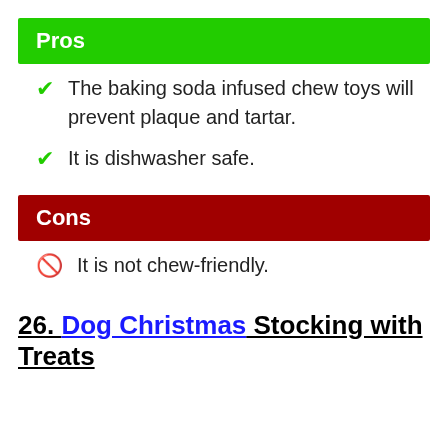Pros
The baking soda infused chew toys will prevent plaque and tartar.
It is dishwasher safe.
Cons
It is not chew-friendly.
26. Dog Christmas Stocking with Treats